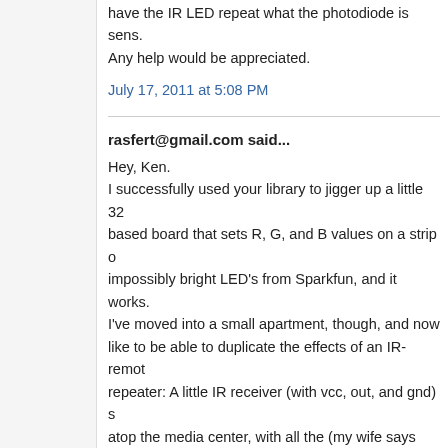have the IR LED repeat what the photodiode is sens. Any help would be appreciated.
July 17, 2011 at 5:08 PM
rasfert@gmail.com said...
Hey, Ken.
I successfully used your library to jigger up a little 32 based board that sets R, G, and B values on a strip of impossibly bright LED's from Sparkfun, and it works. I've moved into a small apartment, though, and now like to be able to duplicate the effects of an IR-remot repeater: A little IR receiver (with vcc, out, and gnd) s atop the media center, with all the (my wife says "ug think they're kinda cool) components hidden behind wood sliding panel. I'd like to beam arbitrary remote codes from arbitrary remotes at the receiver sitting a the center, and have it repeat the codes to a few IR L dangling inside, also behind the wooden slidey thing far, I only got the codes to repeat to one device (a VI blu-ray player). The comcast box and the Panasonic are immune to the charms of IRrecord.pde. Any